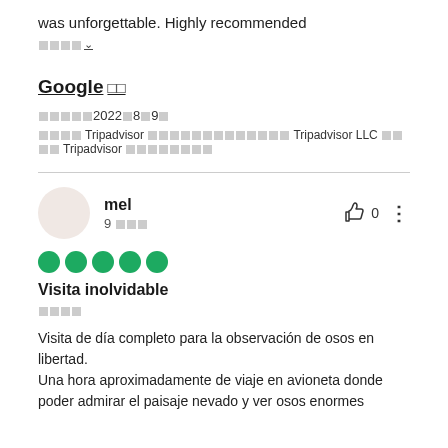was unforgettable. Highly recommended
□□□□ ∨
Google □□
□□□□□2022□8□9□
□□□□ Tripadvisor □□□□□□□□□□□□□ Tripadvisor LLC □□□□ Tripadvisor □□□□□□□□
mel
9 □□□
[Figure (other): Five green circle rating dots (5 out of 5)]
Visita inolvidable
□□□□
Visita de día completo para la observación de osos en libertad.
Una hora aproximadamente de viaje en avioneta donde poder admirar el paisaje nevado y ver osos enormes